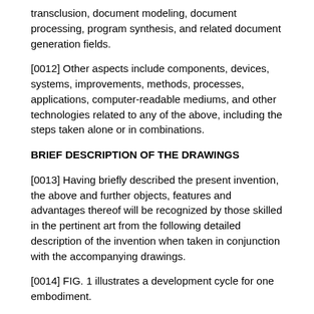transclusion, document modeling, document processing, program synthesis, and related document generation fields.
[0012] Other aspects include components, devices, systems, improvements, methods, processes, applications, computer-readable mediums, and other technologies related to any of the above, including the steps taken alone or in combinations.
BRIEF DESCRIPTION OF THE DRAWINGS
[0013] Having briefly described the present invention, the above and further objects, features and advantages thereof will be recognized by those skilled in the pertinent art from the following detailed description of the invention when taken in conjunction with the accompanying drawings.
[0014] FIG. 1 illustrates a development cycle for one embodiment.
[0015] FIG. 2 illustrates one embodiment of generating a PHP program document.